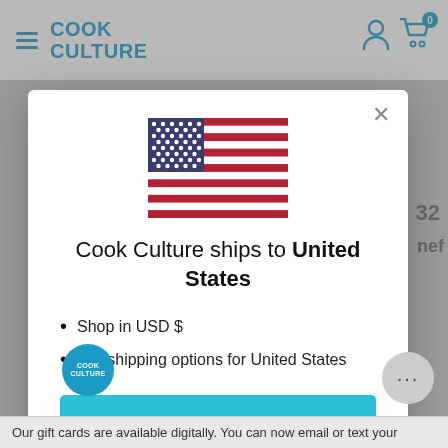[Figure (screenshot): Cook Culture website header with hamburger menu, Cook Culture logo in blue, user account icon, and shopping cart icon with badge showing 0]
[Figure (illustration): United States flag SVG illustration centered in modal]
Cook Culture ships to United States
Shop in USD $
Get shipping options for United States
Shop now
Change shipping country
Our gift cards are available digitally. You can now email or text your